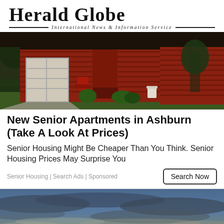Herald Globe
International News & Information Service
[Figure (photo): Photo of a red wood-sided house with garage and green lawn]
New Senior Apartments in Ashburn (Take A Look At Prices)
Senior Housing Might Be Cheaper Than You Think. Senior Housing Prices May Surprise You
Senior Housing | Search Ads | Sponsored
[Figure (photo): Photo of a dramatic sunset sky with clouds and golden light on the horizon]